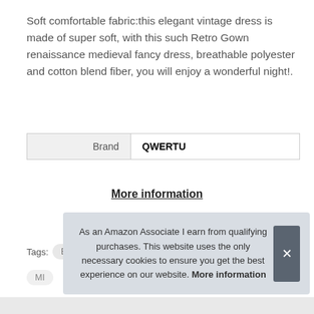Soft comfortable fabric:this elegant vintage dress is made of super soft, with this such Retro Gown renaissance medieval fancy dress, breathable polyester and cotton blend fiber, you will enjoy a wonderful night!.
| Brand | QWERTU |
| --- | --- |
| Brand | QWERTU |
More information
Tags: Bustaza BUKINIE Derrinale HFeri Huma
MI
As an Amazon Associate I earn from qualifying purchases. This website uses the only necessary cookies to ensure you get the best experience on our website. More information